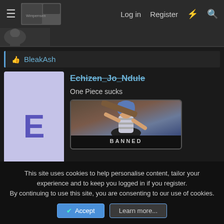Log in  Register
BleakAsh
Echizen_Jo_Ndule
One Piece sucks
[Figure (illustration): Banned badge with anime character holding weapon, blue hair, text BANNED at bottom]
Jan 4, 2022
#244,187
This site uses cookies to help personalise content, tailor your experience and to keep you logged in if you register.
By continuing to use this site, you are consenting to our use of cookies.
Accept   Learn more...